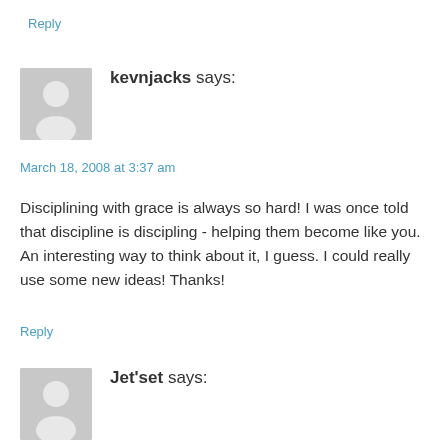Reply
kevnjacks says:
March 18, 2008 at 3:37 am
Disciplining with grace is always so hard! I was once told that discipline is discipling - helping them become like you. An interesting way to think about it, I guess. I could really use some new ideas! Thanks!
Reply
Jet'set says: